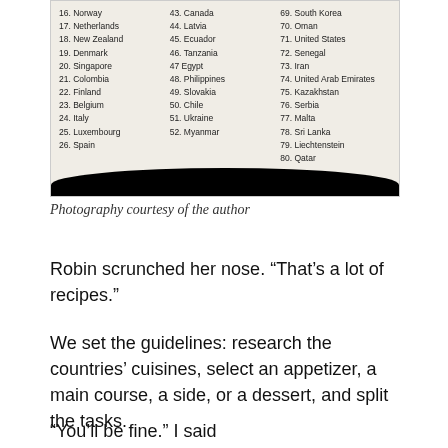[Figure (photo): A handwritten list of countries numbered 16-80 spread across three columns on white paper, partially visible. Left column: 16 Norway, 17 Netherlands, 18 New Zealand, 19 Denmark, 20 Singapore, 21 Colombia, 22 Finland, 23 Belgium, 24 Italy, 25 Luxembourg, 26 Spain. Middle column: 43 Canada, 44 Latvia, 45 Ecuador, 46 Tanzania, 47 Egypt, 48 Philippines, 49 Slovakia, 50 Chile, 51 Ukraine, 52 Myanmar. Right column: 69 South Korea, 70 Oman, 71 United States, 72 Senegal, 73 Iran, 74 United Arab Emirates, 75 Kazakhstan, 76 Serbia, 77 Malta, 78 Sri Lanka, 79 Liechtenstein, 80 Qatar.]
Photography courtesy of the author
Robin scrunched her nose. “That’s a lot of recipes.”
We set the guidelines: research the countries’ cuisines, select an appetizer, a main course, a side, or a dessert, and split the tasks.
“You’ll be fine.” I said